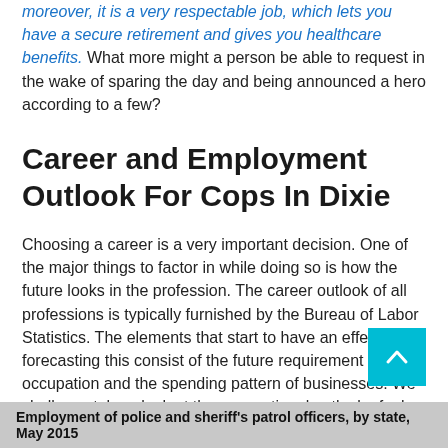moreover, it is a very respectable job, which lets you have a secure retirement and gives you healthcare benefits. What more might a person be able to request in the wake of sparing the day and being announced a hero according to a few?
Career and Employment Outlook For Cops In Dixie
Choosing a career is a very important decision. One of the major things to factor in while doing so is how the future looks in the profession. The career outlook of all professions is typically furnished by the Bureau of Labor Statistics. The elements that start to have an effect while forecasting this consist of the future requirement for that occupation and the spending pattern of businesses. We shall now take a look at the occupational outlook of a law enforcement officer.
[asd_program_button /]
Employment of police and sheriff's patrol officers, by state, May 2015